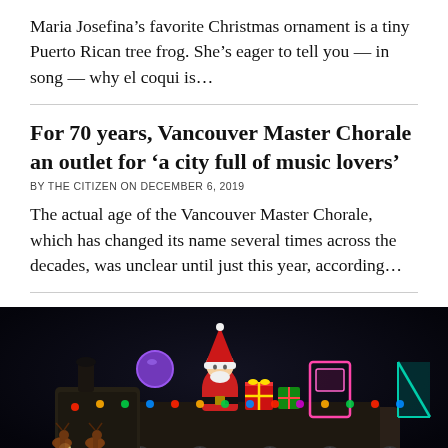Maria Josefina’s favorite Christmas ornament is a tiny Puerto Rican tree frog. She’s eager to tell you — in song — why el coqui is…
For 70 years, Vancouver Master Chorale an outlet for ‘a city full of music lovers’
BY THE CITIZEN ON DECEMBER 6, 2019
The actual age of the Vancouver Master Chorale, which has changed its name several times across the decades, was unclear until just this year, according…
[Figure (photo): Nighttime photo of a Christmas parade float decorated with colorful lights featuring Santa Claus, reindeer figures, wrapped presents, and holiday decorations against a dark background.]